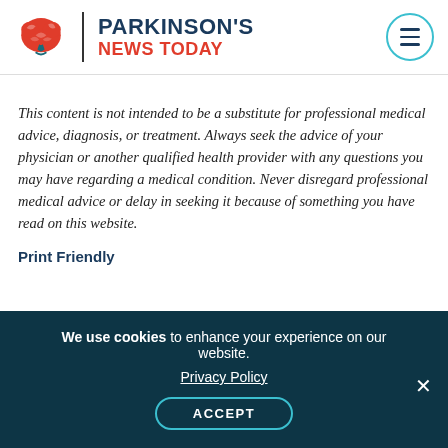[Figure (logo): Parkinson's News Today logo with brain icon, vertical divider, and text reading PARKINSON'S NEWS TODAY]
This content is not intended to be a substitute for professional medical advice, diagnosis, or treatment. Always seek the advice of your physician or another qualified health provider with any questions you may have regarding a medical condition. Never disregard professional medical advice or delay in seeking it because of something you have read on this website.
Print Friendly
We use cookies to enhance your experience on our website. Privacy Policy ACCEPT